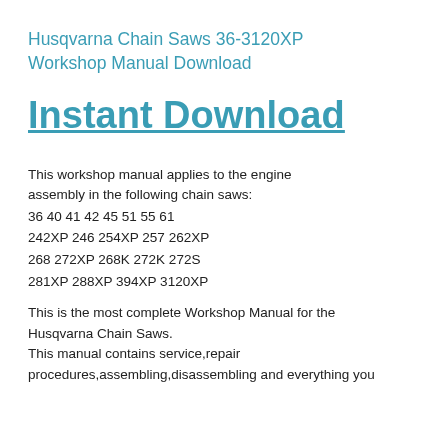Husqvarna Chain Saws 36-3120XP Workshop Manual Download
Instant Download
This workshop manual applies to the engine assembly in the following chain saws:
36 40 41 42 45 51 55 61
242XP 246 254XP 257 262XP
268 272XP 268K 272K 272S
281XP 288XP 394XP 3120XP
This is the most complete Workshop Manual for the Husqvarna Chain Saws.
This manual contains service,repair procedures,assembling,disassembling and everything you